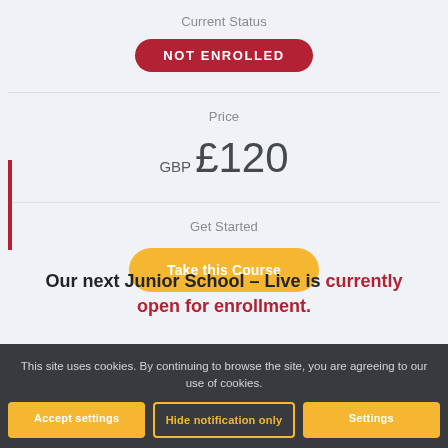Current Status
NOT ENROLLED
Price
GBP £120
Get Started
Take this Course
Our next Junior School – Live is currently open for enrollment.
This site uses cookies. By continuing to browse the site, you are agreeing to our use of cookies.
Accept settings
Hide notification only
Settings